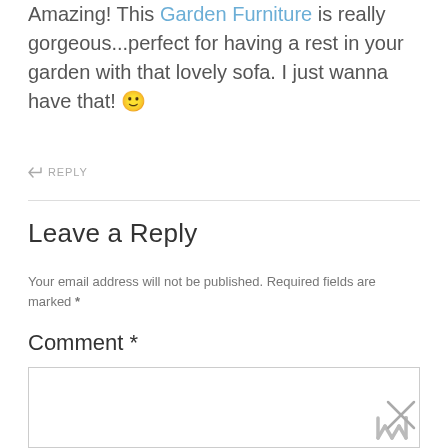Amazing! This Garden Furniture is really gorgeous...perfect for having a rest in your garden with that lovely sofa. I just wanna have that! 🙂
↩ REPLY
Leave a Reply
Your email address will not be published. Required fields are marked *
Comment *
[Figure (other): Empty comment textarea input box]